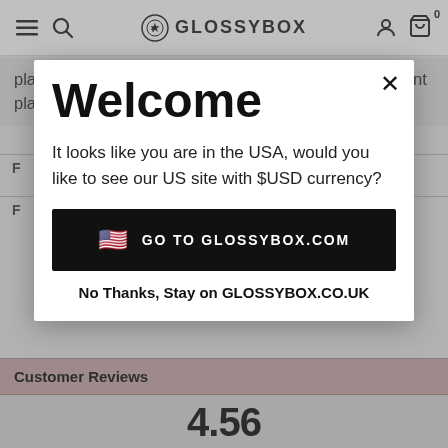GLOSSYBOX
plans, and upfront on the 3, 6 and 12-month Pay Upfront plans. Upon expiry of your subscription, it will
Welcome
It looks like you are in the USA, would you like to see our US site with $USD currency?
GO TO GLOSSYBOX.COM
No Thanks, Stay on GLOSSYBOX.CO.UK
Customer Reviews
4.56